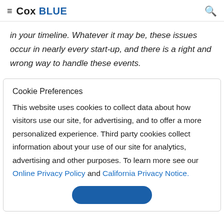≡ Cox BLUE 🔍
in your timeline. Whatever it may be, these issues occur in nearly every start-up, and there is a right and wrong way to handle these events.
Cookie Preferences
This website uses cookies to collect data about how visitors use our site, for advertising, and to offer a more personalized experience. Third party cookies collect information about your use of our site for analytics, advertising and other purposes. To learn more see our Online Privacy Policy and California Privacy Notice.